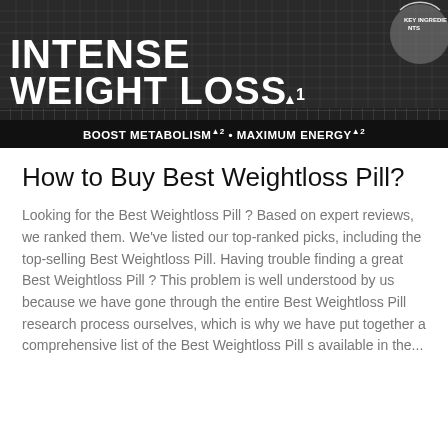[Figure (photo): Dark banner image with grid/checkerboard pattern background showing product text 'INTENSE WEIGHT LOSS' in large white bold letters with superscript 1, and subtitle bar reading 'BOOST METABOLISM 2 • MAXIMUM ENERGY 2'. A circular badge/seal is visible in the top right corner.]
How to Buy Best Weightloss Pill?
Looking for the Best Weightloss Pill ? Based on expert reviews, we ranked them. We've listed our top-ranked picks, including the top-selling Best Weightloss Pill. Having trouble finding a great Best Weightloss Pill ? This problem is well understood by us because we have gone through the entire Best Weightloss Pill research process ourselves, which is why we have put together a comprehensive list of the Best Weightloss Pill s available in the...